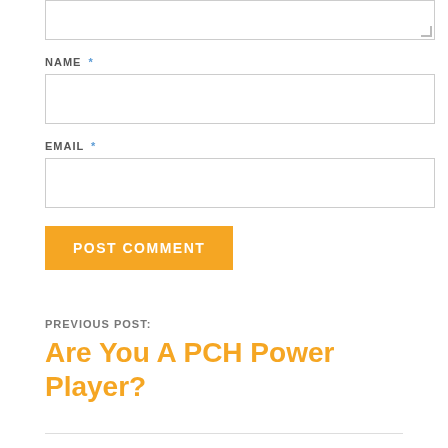NAME *
EMAIL *
POST COMMENT
PREVIOUS POST:
Are You A PCH Power Player?